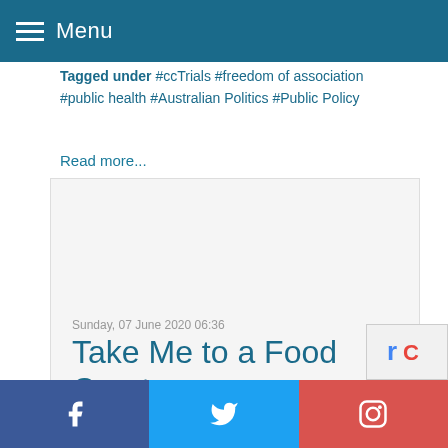Menu
Tagged under #ccTrials #freedom of association #public health #Australian Politics #Public Policy
Read more...
More...
Sunday, 07 June 2020 06:36
Take Me to a Food Court
Facebook Twitter Instagram